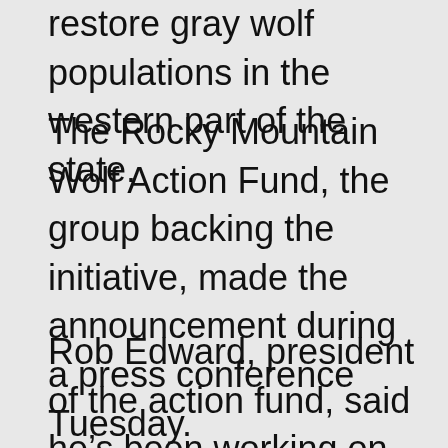restore gray wolf populations in the western part of the state.
The Rocky Mountain Wolf Action Fund, the group backing the initiative, made the announcement during a press conference Tuesday.
Rob Edward, president of the action fund, said he’s been working on gray wolf reintroduction efforts for 25 years.